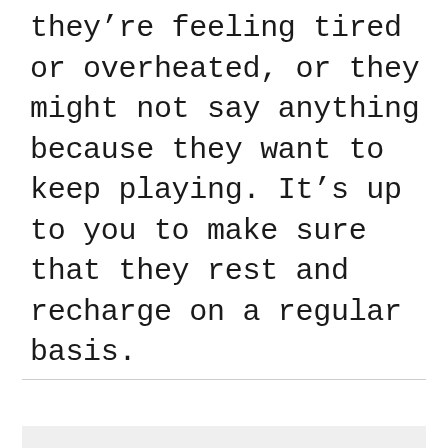they're feeling tired or overheated, or they might not say anything because they want to keep playing. It's up to you to make sure that they rest and recharge on a regular basis.